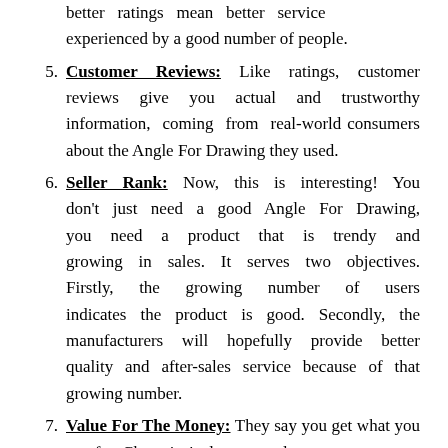(continuation) better ratings mean better service experienced by a good number of people.
5. Customer Reviews: Like ratings, customer reviews give you actual and trustworthy information, coming from real-world consumers about the Angle For Drawing they used.
6. Seller Rank: Now, this is interesting! You don't just need a good Angle For Drawing, you need a product that is trendy and growing in sales. It serves two objectives. Firstly, the growing number of users indicates the product is good. Secondly, the manufacturers will hopefully provide better quality and after-sales service because of that growing number.
7. Value For The Money: They say you get what you pay for. Cheap isn't always good.